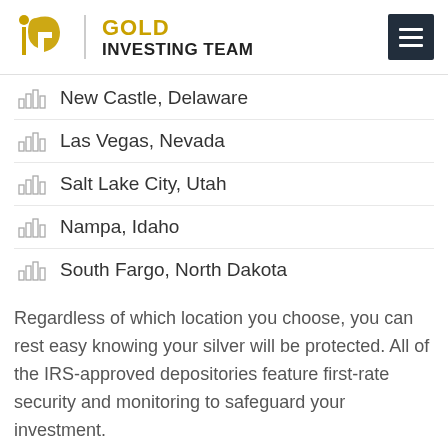GOLD INVESTING TEAM
New Castle, Delaware
Las Vegas, Nevada
Salt Lake City, Utah
Nampa, Idaho
South Fargo, North Dakota
Regardless of which location you choose, you can rest easy knowing your silver will be protected. All of the IRS-approved depositories feature first-rate security and monitoring to safeguard your investment.